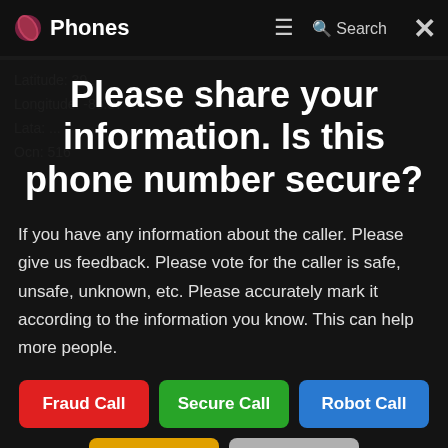Phones
Latitude: 39...
Longitude: -86.37
Lata: ...
Ocn: 516
Please share your information. Is this phone number secure?
If you have any information about the caller. Please give us feedback. Please vote for the caller is safe, unsafe, unknown, etc. Please accurately mark it according to the information you know. This can help more people.
Fraud Call
Secure Call
Robot Call
Missed Call
Text Message